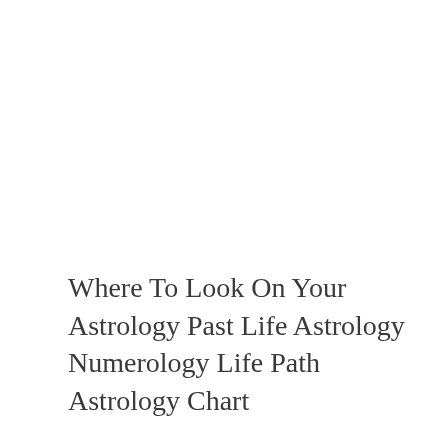Where To Look On Your Astrology Past Life Astrology Numerology Life Path Astrology Chart